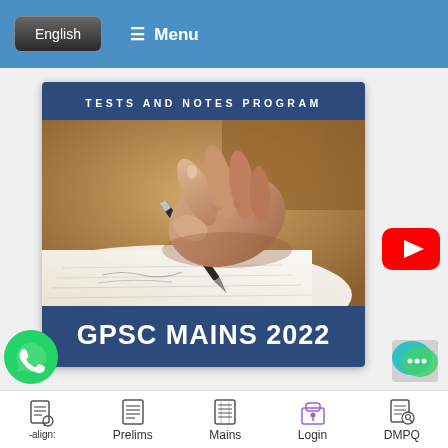English   ☰ Menu
[Figure (screenshot): Banner card with 'TESTS AND NOTES PROGRAM' header, photo of a hand writing with a pen on paper, and 'GPSC MAINS 2022' footer text]
[Figure (logo): YouTube play button icon (red rounded rectangle with white triangle)]
[Figure (logo): WhatsApp icon (green circle with white phone handset)]
[Figure (logo): Chat bubble icon (teal/green overlapping speech bubbles with ellipsis)]
-align:   Prelims   Mains   Login   DMPQ